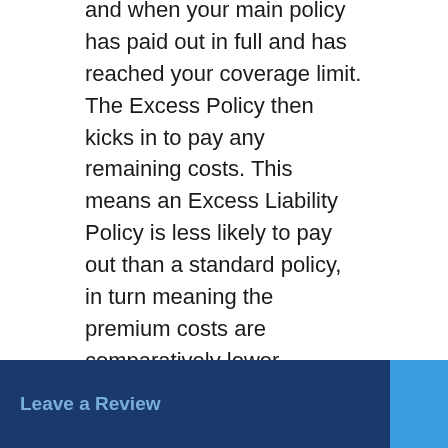and when your main policy has paid out in full and has reached your coverage limit. The Excess Policy then kicks in to pay any remaining costs. This means an Excess Liability Policy is less likely to pay out than a standard policy, in turn meaning the premium costs are comparatively lower.
The term “Excess Liability Insurance” is often interchanged with “Umbrella Insurance” and the distinction between the two can be blurry. Some insurers use the distinction that Umbrella Insurance can cover some risks and situations not covered by the standard policy, while Excess Liability Insurance [only covers the same risks]. Because such distinctions in terminology aren’t always used consistently, you’ll need to check exactly what your policy offers.